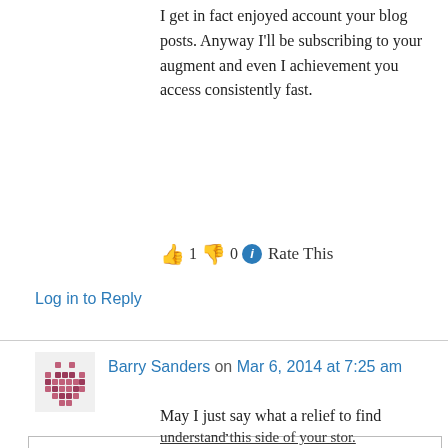I get in fact enjoyed account your blog posts. Anyway I'll be subscribing to your augment and even I achievement you access consistently fast.
👍 1 👎 0 ℹ Rate This
Log in to Reply
Barry Sanders on Mar 6, 2014 at 7:25 am
May I just say what a relief to find someone that
Privacy & Cookies: This site uses cookies. By continuing to use this website, you agree to their use. To find out more, including how to control cookies, see here: Cookie Policy
Close and accept
understand this side of your stor.